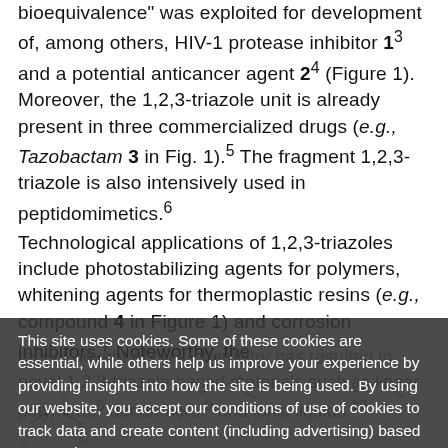bioequivalence" was exploited for development of, among others, HIV-1 protease inhibitor 1³ and a potential anticancer agent 2⁴ (Figure 1). Moreover, the 1,2,3-triazole unit is already present in three commercialized drugs (e.g., Tazobactam 3 in Fig. 1).⁵ The fragment 1,2,3-triazole is also intensively used in peptidomimetics.⁶
Technological applications of 1,2,3-triazoles include photostabilizing agents for polymers, whitening agents for thermoplastic resins (e.g., compound 4 in Figure 1) and corrosion inhibitors.⁷ Noteworthy, the
recent advent of click-chemistry has resulted in novel 1,2,3-triazole-based materials such as linear polymers,⁸ dendrimers,⁹ and ionic liquids.¹⁰
This site uses cookies. Some of these cookies are essential, while others help us improve your experience by providing insights into how the site is being used. By using our website, you accept our conditions of use of cookies to track data and create content (including advertising) based on your interest.
[Figure (illustration): Chemical structure diagrams partially visible at bottom of page, overlapped by cookie consent dialog]